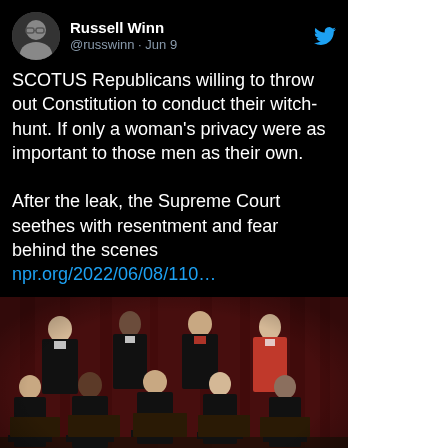[Figure (screenshot): Tweet screenshot from Russell Winn (@russwinn) on Jun 9 with text about SCOTUS Republicans and link to NPR article, including a photo of the Supreme Court justices seated in formal pose in front of red curtains, and an NPR article preview card at the bottom.]